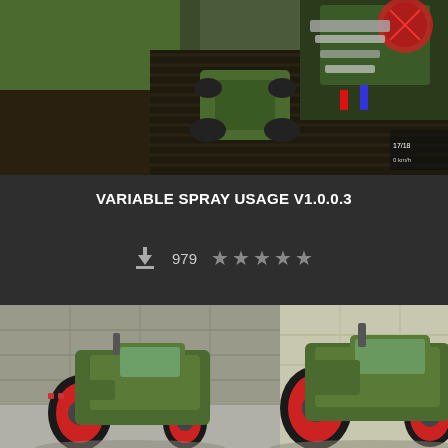[Figure (screenshot): Top card showing a farming simulator screenshot with aerial view of tractor and equipment on field, with dark card background]
VARIABLE SPRAY USAGE V1.0.0.3
979 downloads, star rating (unrated)
[Figure (screenshot): Bottom card showing two green Fendt tractors with red wheel rims parked in front of a building in a farming simulator game]